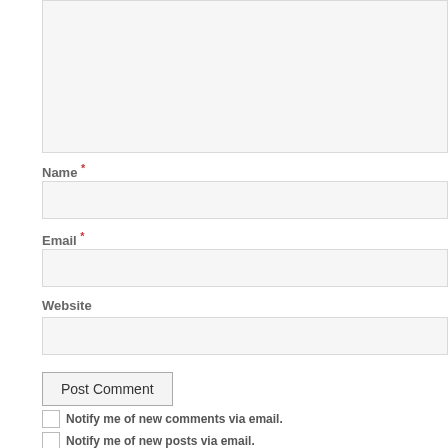[Figure (screenshot): Comment form textarea (top portion, cropped)]
Name *
[Figure (screenshot): Name input field]
Email *
[Figure (screenshot): Email input field]
Website
[Figure (screenshot): Website input field]
Post Comment
Notify me of new comments via email.
Notify me of new posts via email.